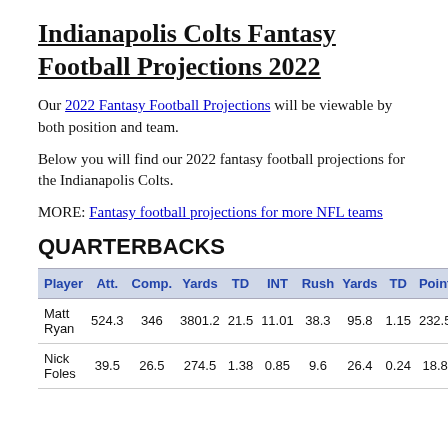Indianapolis Colts Fantasy Football Projections 2022
Our 2022 Fantasy Football Projections will be viewable by both position and team.
Below you will find our 2022 fantasy football projections for the Indianapolis Colts.
MORE: Fantasy football projections for more NFL teams
QUARTERBACKS
| Player | Att. | Comp. | Yards | TD | INT | Rush | Yards | TD | Points |
| --- | --- | --- | --- | --- | --- | --- | --- | --- | --- |
| Matt Ryan | 524.3 | 346 | 3801.2 | 21.5 | 11.01 | 38.3 | 95.8 | 1.15 | 232.51 |
| Nick Foles | 39.5 | 26.5 | 274.5 | 1.38 | 0.85 | 9.6 | 26.4 | 0.24 | 18.88 |